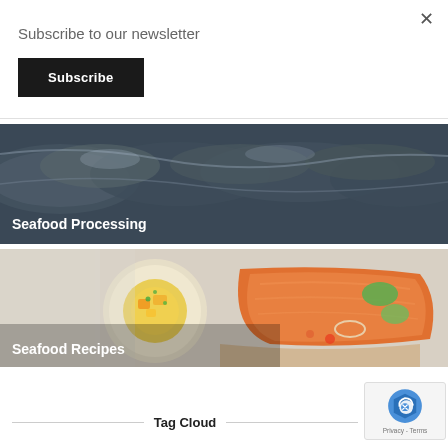×
Subscribe to our newsletter
Subscribe
[Figure (photo): Close-up photo of multiple whole fish (mackerel/similar), arranged side by side showing their silver scales and dark backs, with text overlay 'Seafood Processing']
[Figure (photo): Photo of a plated seafood dish with salmon fillet and a citrus/vegetable garnish on a white plate, with text overlay 'Seafood Recipes']
Tag Cloud